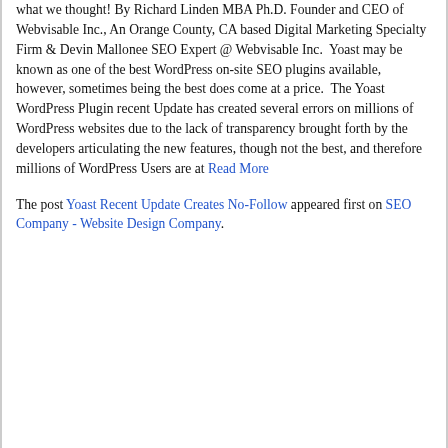what we thought! By Richard Linden MBA Ph.D. Founder and CEO of Webvisable Inc., An Orange County, CA based Digital Marketing Specialty Firm & Devin Mallonee SEO Expert @ Webvisable Inc.  Yoast may be known as one of the best WordPress on-site SEO plugins available, however, sometimes being the best does come at a price.  The Yoast WordPress Plugin recent Update has created several errors on millions of WordPress websites due to the lack of transparency brought forth by the developers articulating the new features, though not the best, and therefore millions of WordPress Users are at Read More
The post Yoast Recent Update Creates No-Follow appeared first on SEO Company - Website Design Company.